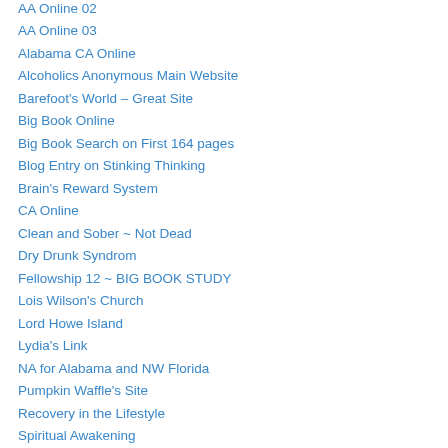AA Online 02
AA Online 03
Alabama CA Online
Alcoholics Anonymous Main Website
Barefoot's World – Great Site
Big Book Online
Big Book Search on First 164 pages
Blog Entry on Stinking Thinking
Brain's Reward System
CA Online
Clean and Sober ~ Not Dead
Dry Drunk Syndrom
Fellowship 12 ~ BIG BOOK STUDY
Lois Wilson's Church
Lord Howe Island
Lydia's Link
NA for Alabama and NW Florida
Pumpkin Waffle's Site
Recovery in the Lifestyle
Spiritual Awakening
Stinking Thinking